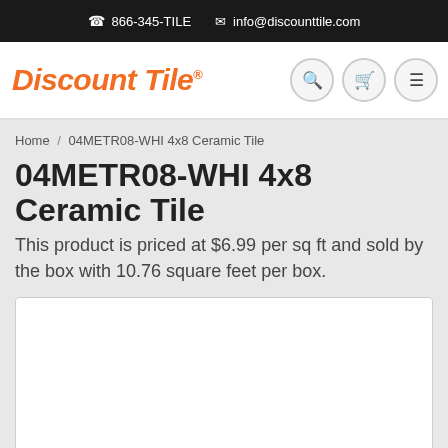866-345-TILE  info@discounttile.com
Discount Tile®
Home / 04METR08-WHI 4x8 Ceramic Tile
04METR08-WHI 4x8 Ceramic Tile
This product is priced at $6.99 per sq ft and sold by the box with 10.76 square feet per box.
[Figure (photo): Product image area — white/blank tile image placeholder]